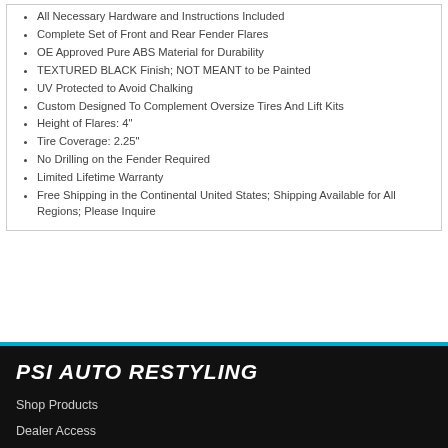All Necessary Hardware and Instructions Included
Complete Set of Front and Rear Fender Flares
OE Approved Pure ABS Material for Durability
TEXTURED BLACK Finish; NOT MEANT to be Painted
UV Protected to Avoid Chalking
Custom Designed To Complement Oversize Tires And Lift Kits
Height of Flares: 4"
Tire Coverage: 2.25"
No Drilling on the Fender Required
Limited Lifetime Warranty
Free Shipping in the Continental United States; Shipping Available for All Regions; Please Inquire
PSI AUTO RESTYLING
Shop Products
Dealer Access